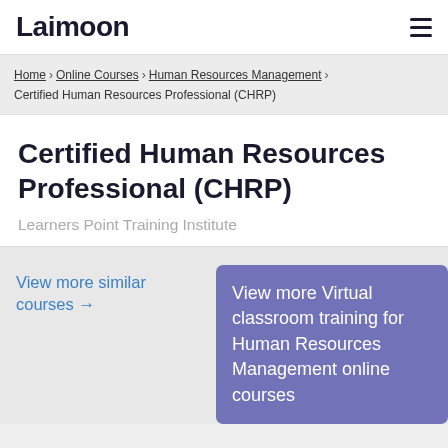Laimoon
Home > Online Courses > Human Resources Management > Certified Human Resources Professional (CHRP)
Certified Human Resources Professional (CHRP)
Learners Point Training Institute
View more similar courses →
View more Virtual classroom training for Human Resources Management online courses